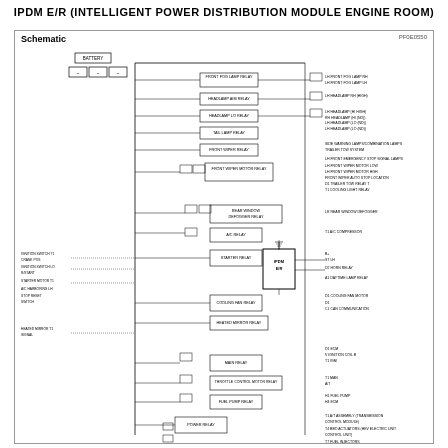IPDM E/R (INTELLIGENT POWER DISTRIBUTION MODULE ENGINE ROOM)
[Figure (schematic): IPDM E/R schematic diagram showing the Intelligent Power Distribution Module Engine Room wiring. The diagram includes battery input, multiple relays (front fog lamp relay, headlamp relay, tail lamp relay, front wiper relay, front wiper motor relay, rear window defogger relay, A/C relay, starter relay, cooling fan relay, heated mirror relay, main relay, throttle control motor relay, fuel pump relay, power relay), a central IPDM E/R module, fuses, and numerous output connections to components including headlamps, fog lamps, wiper motors, A/C compressor, horn relay, cooling fan motor, CAN communication, ECM, BCM, fuel injectors, oxygen sensors, and transmission control module. Left side shows input signals including ignition switch, starter motor, and heated mirror switch.]